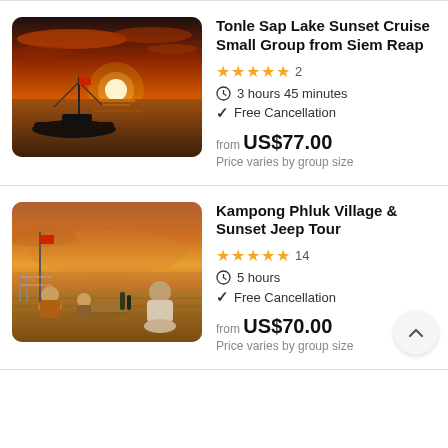[Figure (photo): Silhouette of a traditional wooden boat on Tonle Sap Lake at sunset with orange sky]
Tonle Sap Lake Sunset Cruise Small Group from Siem Reap
★★★★★ 2
3 hours 45 minutes
Free Cancellation
from US$77.00
Price varies by group size
[Figure (photo): People sitting on a boat deck at sunset with drinks and a picnic basket, Kampong Phluk Village]
Kampong Phluk Village & Sunset Jeep Tour
★★★★★ 14
5 hours
Free Cancellation
from US$70.00
Price varies by group size